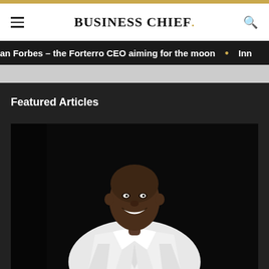BUSINESS CHIEF.
an Forbes – the Forterro CEO aiming for the moon • Inn
Featured Articles
[Figure (photo): Smiling bald Black man in a white dress shirt, photographed against a dark background, seated at a table]